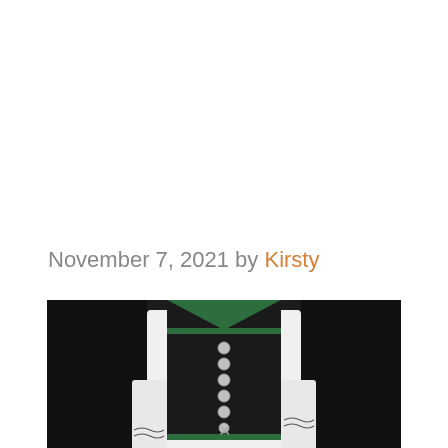November 7, 2021 by Kirsty
[Figure (photo): Close-up photo of a person wearing a traditional Austrian dirndl costume — black bodice with green trim and silver buttons down the front, white blouse with embroidered sleeves, against a dark background.]